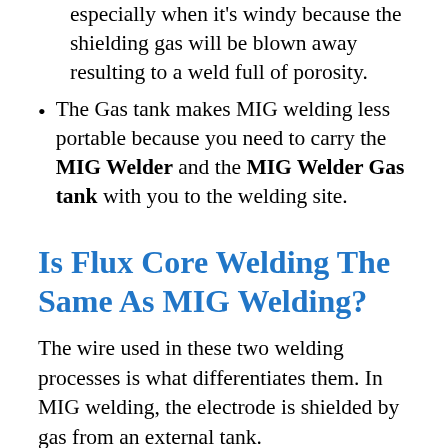especially when it's windy because the shielding gas will be blown away resulting to a weld full of porosity.
The Gas tank makes MIG welding less portable because you need to carry the MIG Welder and the MIG Welder Gas tank with you to the welding site.
Is Flux Core Welding The Same As MIG Welding?
The wire used in these two welding processes is what differentiates them. In MIG welding, the electrode is shielded by gas from an external tank.
Flux core welding has a tubular electrode which is filled with flux that protects the molten bead